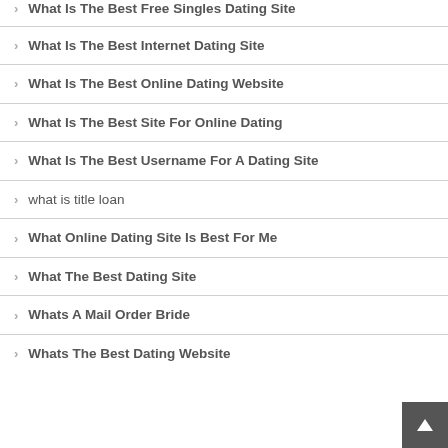What Is The Best Free Singles Dating Site
What Is The Best Internet Dating Site
What Is The Best Online Dating Website
What Is The Best Site For Online Dating
What Is The Best Username For A Dating Site
what is title loan
What Online Dating Site Is Best For Me
What The Best Dating Site
Whats A Mail Order Bride
Whats The Best Dating Website